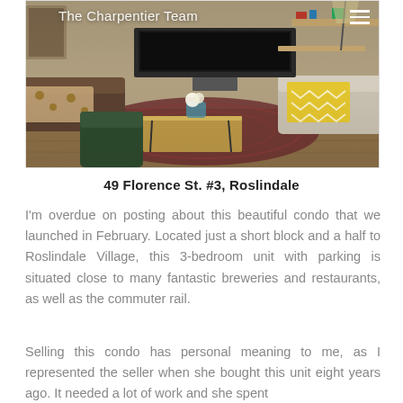[Figure (photo): Interior living room photo showing a couch with leopard print blanket, wooden coffee table, patterned rug, and yellow chevron throw, with 'The Charpentier Team' text overlay and hamburger menu icon]
49 Florence St. #3, Roslindale
I'm overdue on posting about this beautiful condo that we launched in February. Located just a short block and a half to Roslindale Village, this 3-bedroom unit with parking is situated close to many fantastic breweries and restaurants, as well as the commuter rail.
Selling this condo has personal meaning to me, as I represented the seller when she bought this unit eight years ago. It needed a lot of work and she spent significant amounts of money refining it into a beautiful home.